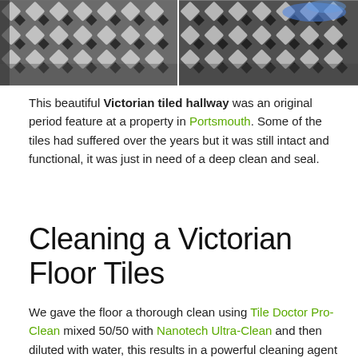[Figure (photo): Two side-by-side photos of Victorian black and white tiled hallway floor. Left photo shows the floor before cleaning, right photo shows the floor after cleaning with water/cleaning solution visible.]
This beautiful Victorian tiled hallway was an original period feature at a property in Portsmouth. Some of the tiles had suffered over the years but it was still intact and functional, it was just in need of a deep clean and seal.
Cleaning a Victorian Floor Tiles
We gave the floor a thorough clean using Tile Doctor Pro-Clean mixed 50/50 with Nanotech Ultra-Clean and then diluted with water, this results in a powerful cleaning agent that's still safe to use on these old floors. This was left to dwell for a while before being worked into the floor using a buffing machine fitted with a black scrubbing pad. Once we were happy with the floor we used